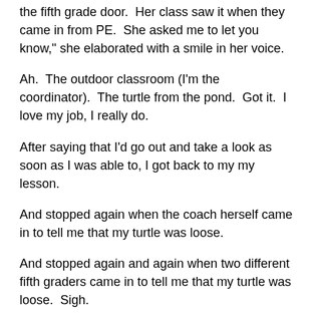the fifth grade door.  Her class saw it when they came in from PE.  She asked me to let you know," she elaborated with a smile in her voice.
Ah.  The outdoor classroom (I'm the coordinator).  The turtle from the pond.  Got it.  I love my job, I really do.
After saying that I'd go out and take a look as soon as I was able to, I got back to my my lesson.
And stopped again when the coach herself came in to tell me that my turtle was loose.
And stopped again and again when two different fifth graders came in to tell me that my turtle was loose.  Sigh.